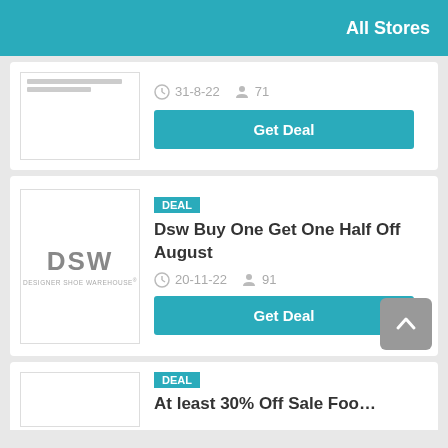All Stores
31-8-22   71
Get Deal
DEAL
Dsw Buy One Get One Half Off August
20-11-22   91
Get Deal
DEAL